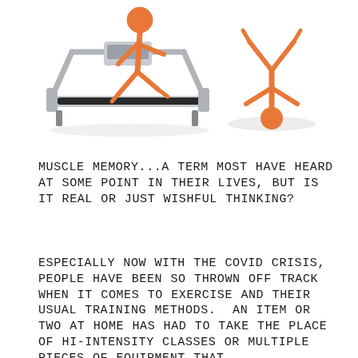[Figure (illustration): Two cartoon orange stick figures: one running on a treadmill (left), one doing a handstand or exercise pose (right), both on white background]
MUSCLE MEMORY...A TERM MOST HAVE HEARD AT SOME POINT IN THEIR LIVES, BUT IS IT REAL OR JUST WISHFUL THINKING?
ESPECIALLY NOW WITH THE COVID CRISIS, PEOPLE HAVE BEEN SO THROWN OFF TRACK WHEN IT COMES TO EXERCISE AND THEIR USUAL TRAINING METHODS. AN ITEM OR TWO AT HOME HAS HAD TO TAKE THE PLACE OF HI-INTENSITY CLASSES OR MULTIPLE PIECES OF EQUIPMENT THAT